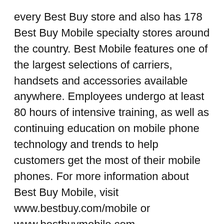every Best Buy store and also has 178 Best Buy Mobile specialty stores around the country. Best Mobile features one of the largest selections of carriers, handsets and accessories available anywhere. Employees undergo at least 80 hours of intensive training, as well as continuing education on mobile phone technology and trends to help customers get the most of their mobile phones. For more information about Best Buy Mobile, visit www.bestbuy.com/mobile or www.bestbuymobile.com.
About Best Buy Co., Inc.
With operations in the United States, Canada, Europe, China, Mexico and Turkey, Best Buy is a multinational retailer of technology and entertainment products and services with a commitment to growth and innovation. The Best Buy family of brands and partnerships